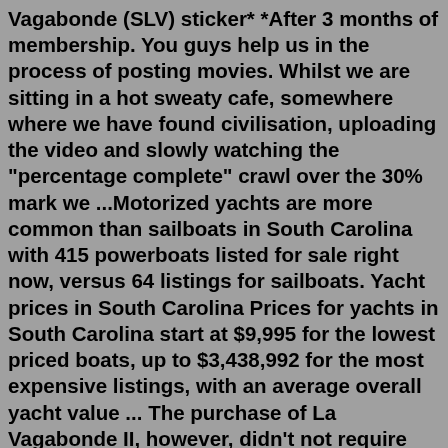Vagabonde (SLV) sticker* *After 3 months of membership. You guys help us in the process of posting movies. Whilst we are sitting in a hot sweaty cafe, somewhere where we have found civilisation, uploading the video and slowly watching the "percentage complete" crawl over the 30% mark we ...Motorized yachts are more common than sailboats in South Carolina with 415 powerboats listed for sale right now, versus 64 listings for sailboats. Yacht prices in South Carolina Prices for yachts in South Carolina start at $9,995 for the lowest priced boats, up to $3,438,992 for the most expensive listings, with an average overall yacht value ... The purchase of La Vagabonde II, however, didn't not require spending $1,200,000 USD (the retail price of La Vagabonde's Outremer 45), and instead, was based off their audience size and Outremer's potential for marketing reach similar to a sponsorship deal. The catamaran itself, just like the original monohull, is legally owned by Riley and Elayna. Oct 12, 2017 · My week on Sailing La Vagabonde, I remember when I first